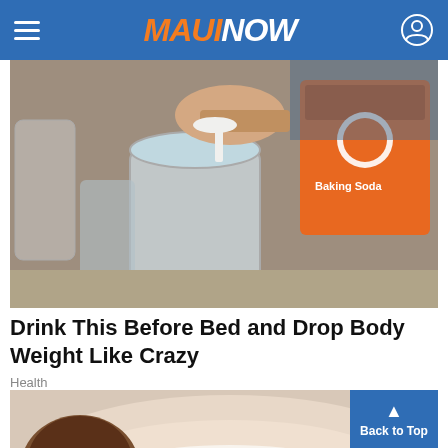MAUI NOW
[Figure (photo): Person holding a box of Arm & Hammer Baking Soda over a glass jar, spooning white powder into it. Kitchen countertop setting.]
Drink This Before Bed and Drop Body Weight Like Crazy
Health
[Figure (photo): Partial image showing a bowl or plate with coconut milk, partially cropped at bottom of page.]